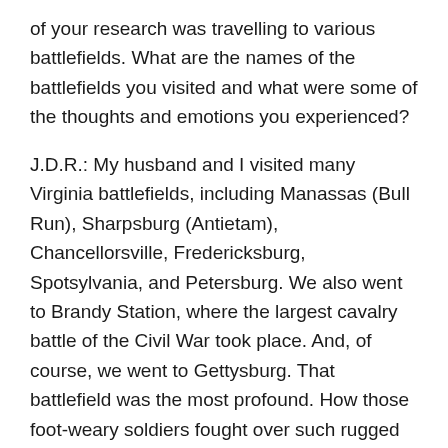of your research was travelling to various battlefields. What are the names of the battlefields you visited and what were some of the thoughts and emotions you experienced?
J.D.R.: My husband and I visited many Virginia battlefields, including Manassas (Bull Run), Sharpsburg (Antietam), Chancellorsville, Fredericksburg, Spotsylvania, and Petersburg. We also went to Brandy Station, where the largest cavalry battle of the Civil War took place. And, of course, we went to Gettysburg. That battlefield was the most profound. How those foot-weary soldiers fought over such rugged terrain amazes me. And seeing the National Cemetery, with all the unknown soldiers’ markers, as well as the mass graves of the Confederates, was overwhelming. So many gave their lives, and that was just